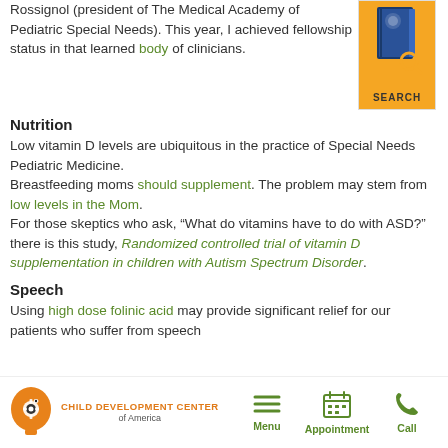Rossignol (president of The Medical Academy of Pediatric Special Needs). This year, I achieved fellowship status in that learned body of clinicians.
[Figure (illustration): Orange search/book icon box with a book graphic and text SEARCH]
Nutrition
Low vitamin D levels are ubiquitous in the practice of Special Needs Pediatric Medicine.
Breastfeeding moms should supplement. The problem may stem from low levels in the Mom.
For those skeptics who ask, “What do vitamins have to do with ASD?” there is this study, Randomized controlled trial of vitamin D supplementation in children with Autism Spectrum Disorder.
Speech
Using high dose folinic acid may provide significant relief for our patients who suffer from speech
[Figure (logo): Child Development Center of America logo — orange head with gear icon]
Menu  Appointment  Call